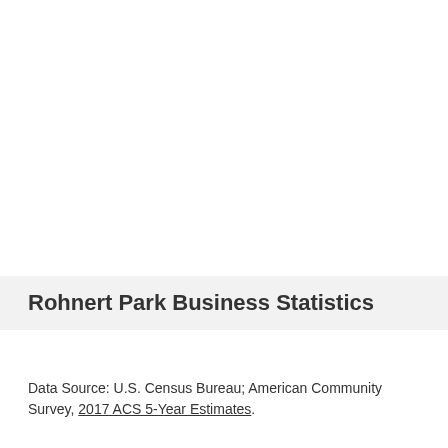Rohnert Park Business Statistics
Data Source: U.S. Census Bureau; American Community Survey, 2017 ACS 5-Year Estimates.